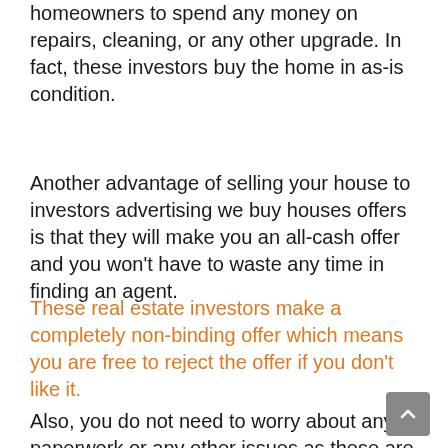homeowners to spend any money on repairs, cleaning, or any other upgrade. In fact, these investors buy the home in as-is condition.
Another advantage of selling your house to investors advertising we buy houses offers is that they will make you an all-cash offer and you won't have to waste any time in finding an agent.
These real estate investors make a completely non-binding offer which means you are free to reject the offer if you don't like it.
Also, you do not need to worry about any paperwork or any other issues as these are